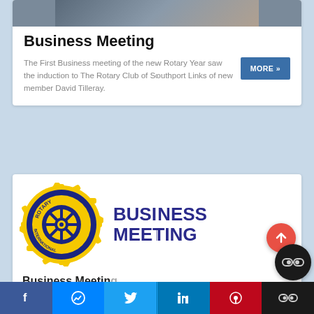[Figure (photo): Partial photo strip at top of card showing people]
Business Meeting
The First Business meeting of the new Rotary Year saw the induction to The Rotary Club of Southport Links of new member David Tilleray.
[Figure (logo): Rotary International circular gear logo in yellow and blue with ROTARY INTERNATIONAL text, alongside BUSINESS MEETING text in dark blue bold]
Business Meeting
Facebook | Messenger | Twitter | LinkedIn | Pinterest | Co